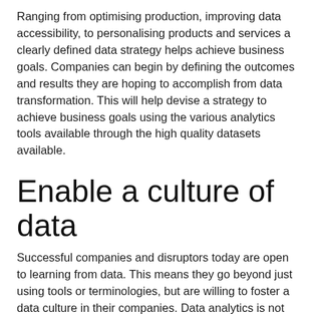Ranging from optimising production, improving data accessibility, to personalising products and services a clearly defined data strategy helps achieve business goals. Companies can begin by defining the outcomes and results they are hoping to accomplish from data transformation. This will help devise a strategy to achieve business goals using the various analytics tools available through the high quality datasets available.
Enable a culture of data
Successful companies and disruptors today are open to learning from data. This means they go beyond just using tools or terminologies, but are willing to foster a data culture in their companies. Data analytics is not just a term used in presentations, but what they learn from the data is put into practice. Enabling a culture of data begins with